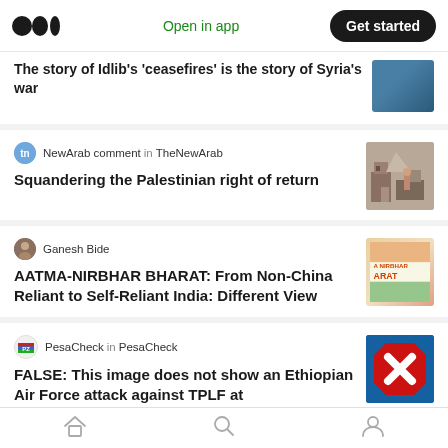Medium logo | Open in app | Get started
The story of Idlib's 'ceasefires' is the story of Syria's war
NewArab comment in TheNewArab
Squandering the Palestinian right of return
Ganesh Bide
AATMA-NIRBHAR BHARAT: From Non-China Reliant to Self-Reliant India: Different View
PesaCheck in PesaCheck
FALSE: This image does not show an Ethiopian Air Force attack against TPLF at
Home | Search | Profile